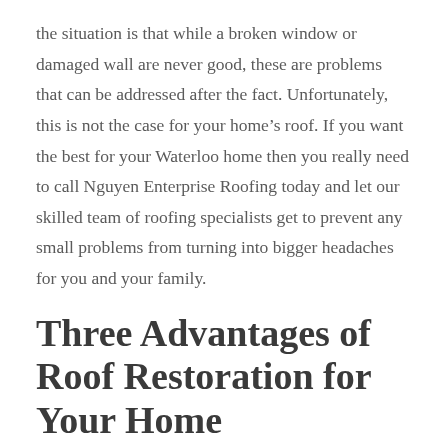the situation is that while a broken window or damaged wall are never good, these are problems that can be addressed after the fact. Unfortunately, this is not the case for your home's roof. If you want the best for your Waterloo home then you really need to call Nguyen Enterprise Roofing today and let our skilled team of roofing specialists get to prevent any small problems from turning into bigger headaches for you and your family.
Three Advantages of Roof Restoration for Your Home
There is no two ways about it, a working roof is a prerequisite for any Waterloo home. If you want to ensure that your roof is at its best for many years to come, then you need to contact Nguyen Enterprise Roofing today. Our skilled roof repair and